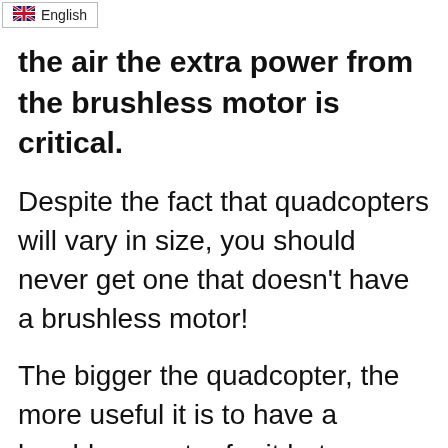the air the extra power from the brushless motor is critical.
Despite the fact that quadcopters will vary in size, you should never get one that doesn't have a brushless motor!
The bigger the quadcopter, the more useful it is to have a brushless motor for it but even smaller ones will not be very powerful or responsive if they only have